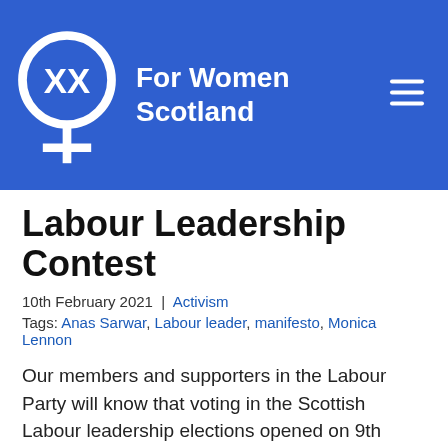[Figure (logo): For Women Scotland logo: white female symbol with XX on circle, on blue background, with site name 'For Women Scotland' in white bold text and hamburger menu icon]
Labour Leadership Contest
10th February 2021 | Activism
Tags: Anas Sarwar, Labour leader, manifesto, Monica Lennon
Our members and supporters in the Labour Party will know that voting in the Scottish Labour leadership elections opened on 9th February 2021, and will close on 26th February 2021. It has emerged that both contenders, Monica Lennon and Anas Sarwar, have joined LGBT+ Labour Scotland's Rainbow